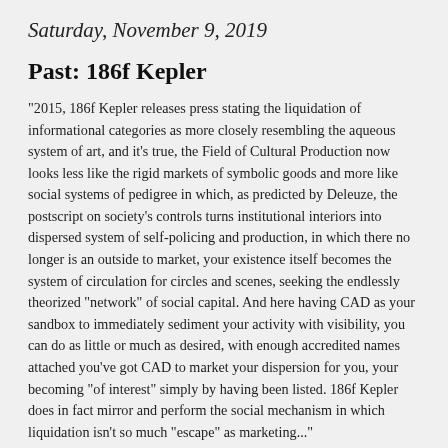Saturday, November 9, 2019
Past: 186f Kepler
"2015, 186f Kepler releases press stating the liquidation of informational categories as more closely resembling the aqueous system of art, and it’s true, the Field of Cultural Production now looks less like the rigid markets of symbolic goods and more like social systems of pedigree in which, as predicted by Deleuze, the postscript on society’s controls turns institutional interiors into dispersed system of self-policing and production, in which there no longer is an outside to market, your existence itself becomes the system of circulation for circles and scenes, seeking the endlessly theorized “network” of social capital. And here having CAD as your sandbox to immediately sediment your activity with visibility, you can do as little or much as desired, with enough accredited names attached you’ve got CAD to market your dispersion for you, your becoming “of interest” simply by having been listed. 186f Kepler does in fact mirror and perform the social mechanism in which liquidation isn’t so much “escape” as marketing..."